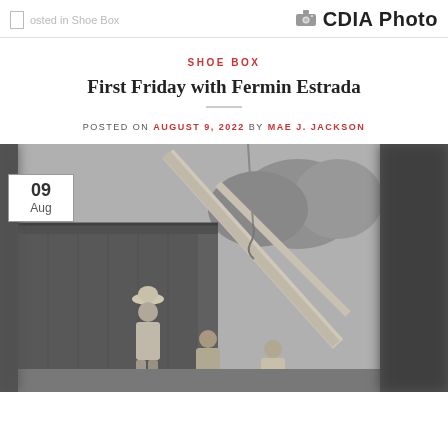Posted in Shoe Box | CDIA Photo
SHOE BOX
First Friday with Fermin Estrada
POSTED ON AUGUST 9, 2022 BY MAE J. JACKSON
[Figure (photo): Black and white photograph showing workers near a wooden structure with a large beam or pole. One worker wears a cowboy hat. A date badge reading '09 Aug' appears in the upper left corner of the image.]